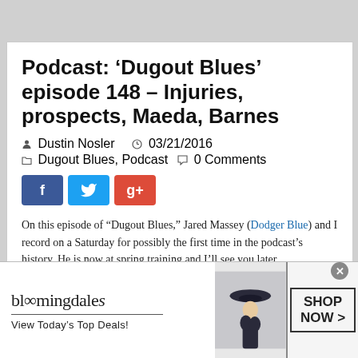Podcast: ‘Dugout Blues’ episode 148 – Injuries, prospects, Maeda, Barnes
Dustin Nosler   03/21/2016   Dugout Blues, Podcast   0 Comments
[Figure (other): Social share buttons: Facebook (blue), Twitter (light blue), Google+ (red)]
On this episode of “Dugout Blues,” Jared Massey (Dodger Blue) and I record on a Saturday for possibly the first time in the podcast’s history. He is now at spring training and I’ll see you later.
[Figure (photo): Bloomingdale's advertisement showing a woman in a hat with text 'View Today's Top Deals!' and a 'SHOP NOW >' button]